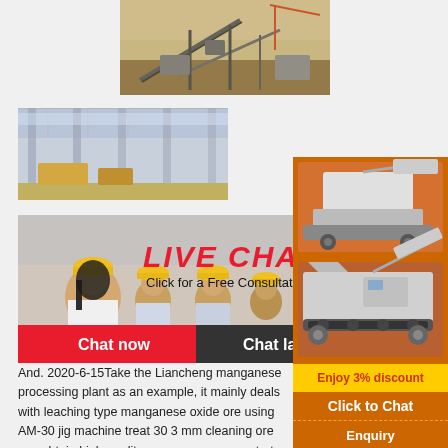[Figure (photo): Aerial view of an industrial mining/crushing plant with conveyor belts and machinery]
[Figure (photo): Interior of a factory/industrial building with steel columns and yellow machinery]
[Figure (photo): Live chat popup showing workers in yellow hard hats with 'LIVE CHAT - Click for a Free Consultation' overlay and Chat now / Chat later buttons]
[Figure (photo): Right sidebar showing orange background with mining machine images, 'Enjoy 3% discount', 'Click to Chat', and 'Enquiry' sections with mumumugoods@gmail.com]
And. 2020-6-15Take the Liancheng manganese processing plant as an example, it mainly deals with leaching type manganese oxide ore using AM-30 jig machine treat 30 3 mm cleaning ore can obtain high-quality manganese concentrate containing more than 40 manganese mineral.